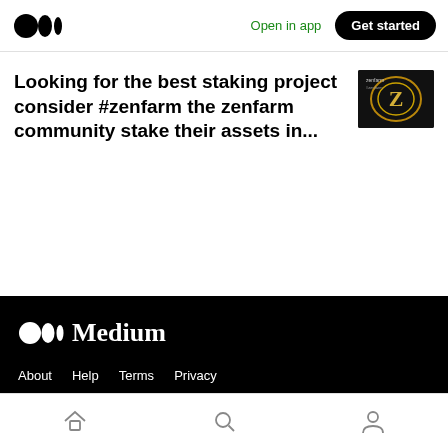Open in app | Get started
Looking for the best staking project consider #zenfarm the zenfarm community stake their assets in...
[Figure (photo): Thumbnail image with dark background showing a gold/green 'Z' logo for zenfarm project]
[Figure (logo): Medium logo in white on black background with text 'Medium']
About   Help   Terms   Privacy
Get the Medium app
Home, Search, Profile navigation icons